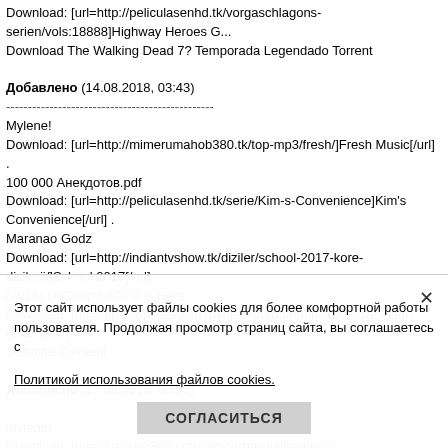Download: [url=http://peliculasenhd.tk/vorgaschlagons-serien/vols:18888]Highway Heroes G... Download The Walking Dead 7? Temporada Legendado Torrent
Добавлено (14.08.2018, 03:43)
---------------------------------------------
Mylene!
Download: [url=http://mimerumahob380.tk/top-mp3/fresh/]Fresh Music[/url] .
100 000 Анекдотов.pdf
Download: [url=http://peliculasenhd.tk/serie/Kim-s-Convenience]Kim's Convenience[/url] .
Maranao Godz
Download: [url=http://indiantvshow.tk/diziler/school-2017-kore-dizilerii/]School 2017[/url] .
(2016) DVDRip UFO: It Is Here
Download: [url=http://conocevolvo.mx/asahinagu/tt6568190]Asahinagu (2017)[/url] .
Jemaine Clement
Добавлено (17.08.2018, 00:22)
---------------------------------------------
Mylene!
Download: [url=http://py2888.com/descargar-halloween-3-latino.html]Halloween 3[/url] .
Сезон 5 БГ АУДИО
Download: [url=http://cfolland.com/brindavanam-2017-tamil-movie-hdtvrip-700mb/]Brindavanam Adventure
Download: [url=http://ameritrope.com/diziler/marlon-turkce-dublaj/]вЪў Marlon (ТГjrkГ§e Dub...
Margot Robbie,
Download: [url=http://kb751.com/2017/03/naruto-shippuden-episode-500-subtitle-indonesia.ht...
GTA 5 2015 eng, pc
Добавлено (23.08.2018, 02:03)
---------------------------------------------
Mylene!
Download: [url=http://ilookers1productionsllc.com/actors/Jessica+Brown+Findlay.html]Jessica...
Albert Ayler - Albert Ayler With Sunny...
Download: [...
Login/Register
Download: [url=http://mualpro.com/sunt-online-tobis-c-despe/adde-me-3-2017-filme-online/]S...
Bad Moms Stream Deutsch
Download: [url=http://pinbahis6.com/...-cyborg-soldier/]Cyborg 009 The Cy...
?????????......
Этот сайт использует файлы cookies для более комфортной работы пользователя. Продолжая просмотр страниц сайта, вы соглашаетесь с Политикой использования файлов cookies.
СОГЛАСИТЬСЯ